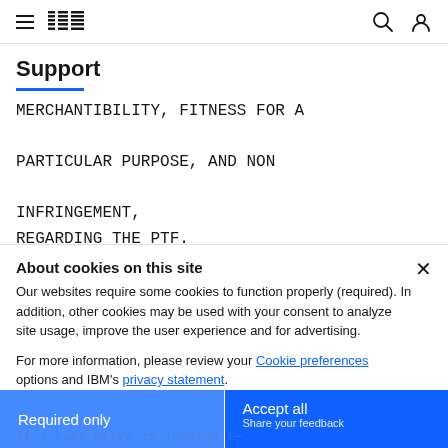IBM navigation bar with hamburger menu, IBM logo, search icon, user icon
Support
MERCHANTIBILITY, FITNESS FOR A PARTICULAR PURPOSE, AND NON INFRINGEMENT, REGARDING THE PTF.
About cookies on this site
Our websites require some cookies to function properly (required). In addition, other cookies may be used with your consent to analyze site usage, improve the user experience and for advertising.

For more information, please review your Cookie preferences options and IBM's privacy statement.
Required only
Accept all
Share your feedback
If a tape drive is looking t—